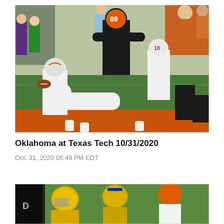[Figure (photo): Football players in white uniforms (Texas Longhorns) pushing through a pile against players in black uniforms (Oklahoma State Cowboys, #89) during a college football game at Texas Tech, October 31, 2020. Player #18 visible in white.]
Oklahoma at Texas Tech 10/31/2020
Oct. 31, 2020 05:49 PM EDT
[Figure (photo): Partial view of a second football game photo showing players in yellow/gold helmets and an Oklahoma State player in orange, cropped at bottom of page.]